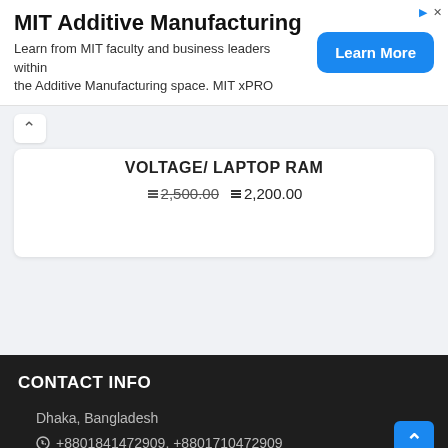[Figure (other): MIT Additive Manufacturing advertisement banner with 'Learn More' button]
VOLTAGE/ LAPTOP RAM
2,500.00  2,200.00 (strikethrough on old price)
CONTACT INFO
Dhaka, Bangladesh
+8801841472909, +8801710472909